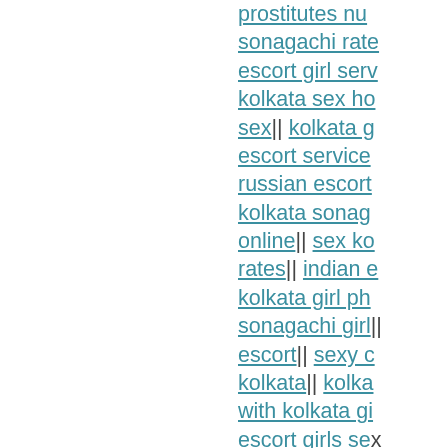prostitutes nu|| sonagachi rate|| escort girl serv|| kolkata sex ho|| sex|| kolkata g|| escort service|| russian escort|| kolkata sonag|| online|| sex ko|| rates|| indian e|| kolkata girl ph|| sonagachi girl|| escort|| sexy c|| kolkata|| kolka|| with kolkata gi|| escort girls se|| call girl in kolk|| near me|| kolk|| service|| sexy|| booking conta|| escorts|| esco|| street|| hooker|| sex|| callgirl ne|| rate chart|| sex|| kolkata shobh|| escort|| kolkata